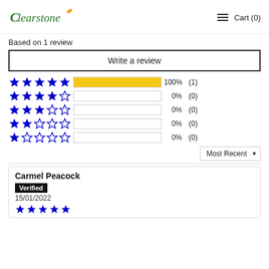Clearstone | Cart (0)
Based on 1 review
Write a review
[Figure (infographic): Star rating breakdown: 5 stars 100% (1), 4 stars 0% (0), 3 stars 0% (0), 2 stars 0% (0), 1 star 0% (0)]
Most Recent
Carmel Peacock
Verified
15/01/2022